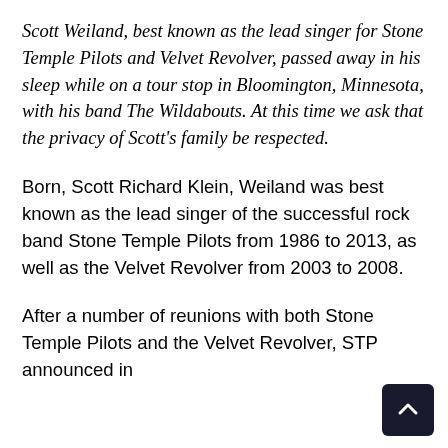Scott Weiland, best known as the lead singer for Stone Temple Pilots and Velvet Revolver, passed away in his sleep while on a tour stop in Bloomington, Minnesota, with his band The Wildabouts. At this time we ask that the privacy of Scott's family be respected.
Born, Scott Richard Klein, Weiland was best known as the lead singer of the successful rock band Stone Temple Pilots from 1986 to 2013, as well as the Velvet Revolver from 2003 to 2008.
After a number of reunions with both Stone Temple Pilots and the Velvet Revolver, STP announced in